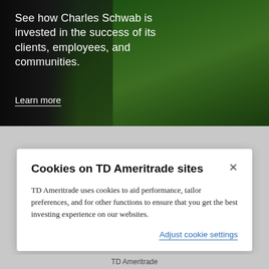[Figure (photo): Background photo of people in green T-shirts with overlaid white text. Shows Charles Schwab community investment theme.]
See how Charles Schwab is invested in the success of its clients, employees, and communities.
Learn more
Cookies on TD Ameritrade sites
TD Ameritrade uses cookies to aid performance, tailor preferences, and for other functions to ensure that you get the best investing experience on our websites.
Adjust cookie settings
TD Ameritrade